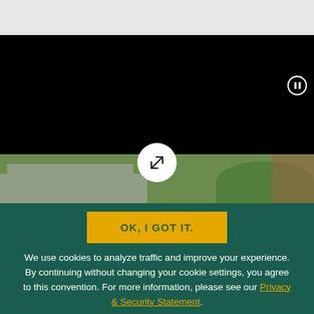[Figure (photo): Black video player area at top with pause button in upper right corner, below it a campus photo strip showing university buildings and greenery with an expand/fullscreen button overlay]
OK, I GOT IT.
We use cookies to analyze traffic and improve your experience. By continuing without changing your cookie settings, you agree to this convention. For more information, please see our Privacy & Security Statement.